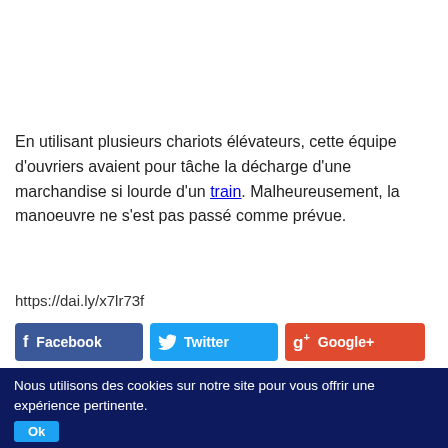En utilisant plusieurs chariots élévateurs, cette équipe d'ouvriers avaient pour tâche la décharge d'une marchandise si lourde d'un train. Malheureusement, la manoeuvre ne s'est pas passé comme prévue.
https://dai.ly/x7lr73f
[Figure (other): Social share buttons for Facebook, Twitter, and Google+]
Nous utilisons des cookies sur notre site pour vous offrir une expérience pertinente.